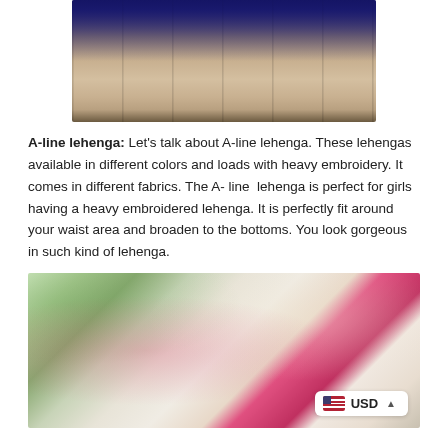[Figure (photo): A close-up photo of a blue and silver heavily embroidered A-line lehenga skirt, spread out on a dark wooden floor, showing intricate embroidery and sequin work across the fabric panels with a decorative border.]
A-line lehenga: Let's talk about A-line lehenga. These lehengas available in different colors and loads with heavy embroidery. It comes in different fabrics. The A- line  lehenga is perfect for girls having a heavy embroidered lehenga. It is perfectly fit around your waist area and broaden to the bottoms. You look gorgeous in such kind of lehenga.
[Figure (photo): A photo of a woman wearing a pink and white striped lehenga with heavy embroidery standing next to a man in a cream sherwani and white turban, in a garden setting with trees and pillars in the background. A USD currency selector badge is overlaid at the bottom right.]